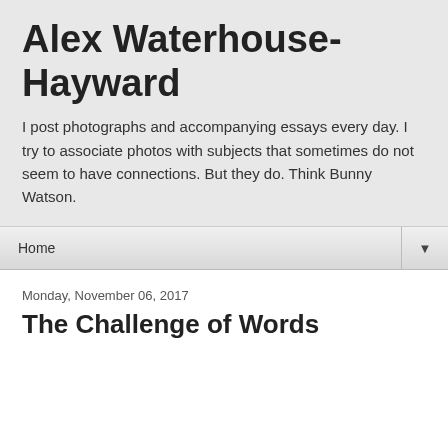Alex Waterhouse-Hayward
I post photographs and accompanying essays every day. I try to associate photos with subjects that sometimes do not seem to have connections. But they do. Think Bunny Watson.
Home ▼
Monday, November 06, 2017
The Challenge of Words